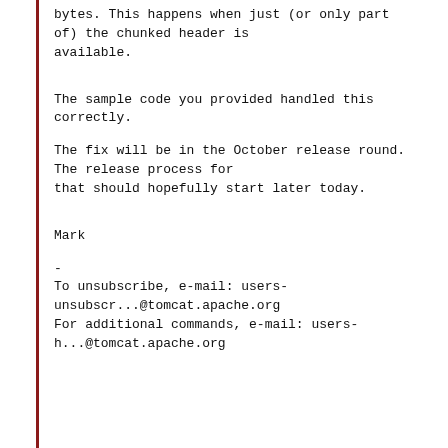bytes. This happens when just (or only part
of) the chunked header is
available.
The sample code you provided handled this
correctly.
The fix will be in the October release round.
The release process for
that should hopefully start later today.
Mark
-
To unsubscribe, e-mail: users-
unsubscr...@tomcat.apache.org
For additional commands, e-mail: users-
h...@tomcat.apache.org